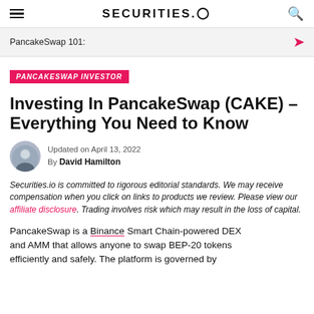SECURITIES.IO
PancakeSwap 101:
PANCAKESWAP INVESTOR
Investing In PancakeSwap (CAKE) – Everything You Need to Know
Updated on April 13, 2022
By David Hamilton
Securities.io is committed to rigorous editorial standards. We may receive compensation when you click on links to products we review. Please view our affiliate disclosure. Trading involves risk which may result in the loss of capital.
PancakeSwap is a Binance Smart Chain-powered DEX and AMM that allows anyone to swap BEP-20 tokens efficiently and safely. The platform is governed by...